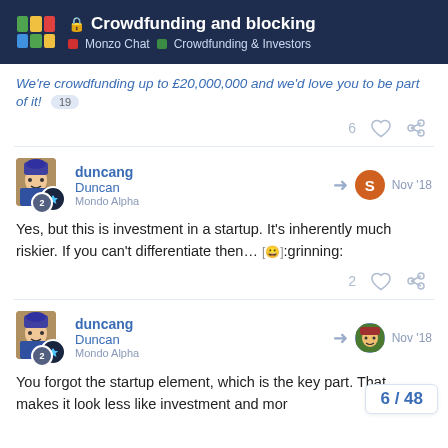Crowdfunding and blocking — Monzo Chat · Crowdfunding & Investors
We're crowdfunding up to £20,000,000 and we'd love you to be part of it! 19
duncang Duncan Mondo Alpha — Nov '18
Yes, but this is investment in a startup. It's inherently much riskier. If you can't differentiate then… :grinning:
duncang Duncan Mondo Alpha — Nov '18
You forgot the startup element, which is the key part. That makes it look less like investment and mor
6 / 48